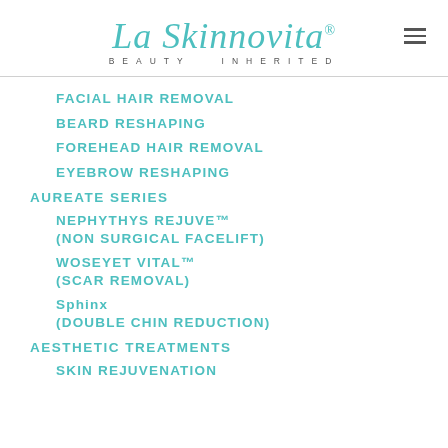[Figure (logo): La Skinnovita logo with italic script text and tagline BEAUTY INHERITED]
FACIAL HAIR REMOVAL
BEARD RESHAPING
FOREHEAD HAIR REMOVAL
EYEBROW RESHAPING
AUREATE SERIES
NEPHYTHYS REJUVE™ (NON SURGICAL FACELIFT)
WOSEYET VITAL™ (SCAR REMOVAL)
Sphinx (DOUBLE CHIN REDUCTION)
AESTHETIC TREATMENTS
SKIN REJUVENATION